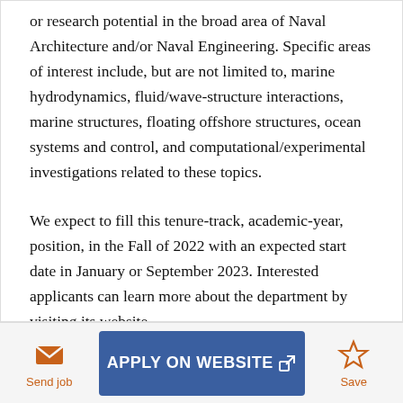or research potential in the broad area of Naval Architecture and/or Naval Engineering. Specific areas of interest include, but are not limited to, marine hydrodynamics, fluid/wave-structure interactions, marine structures, floating offshore structures, ocean systems and control, and computational/experimental investigations related to these topics.

We expect to fill this tenure-track, academic-year, position, in the Fall of 2022 with an expected start date in January or September 2023. Interested applicants can learn more about the department by visiting its website...
Send job
APPLY ON WEBSITE
Save